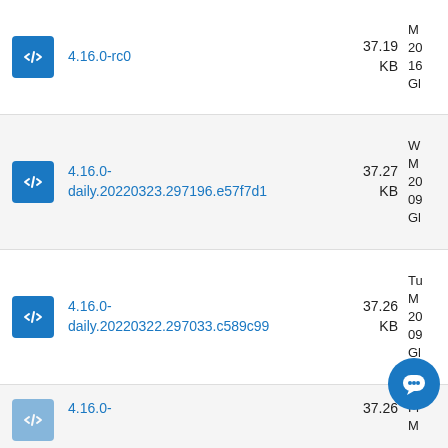4.16.0-rc0 | 37.19 KB
4.16.0-daily.20220323.297196.e57f7d1 | 37.27 KB
4.16.0-daily.20220322.297033.c589c99 | 37.26 KB
4.16.0- | 37.26